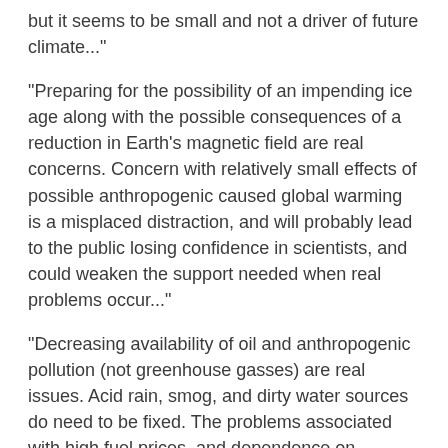but it seems to be small and not a driver of future climate..."
"Preparing for the possibility of an impending ice age along with the possible consequences of a reduction in Earth's magnetic field are real concerns. Concern with relatively small effects of possible anthropogenic caused global warming is a misplaced distraction, and will probably lead to the public losing confidence in scientists, and could weaken the support needed when real problems occur..."
"Decreasing availability of oil and anthropogenic pollution (not greenhouse gasses) are real issues. Acid rain, smog, and dirty water sources do need to be fixed. The problems associated with high fuel prices, and dependence on sources of energy from possibly less than friendly foreign countries are critical. While we can't solve the problems with a single magic bullet, more nuclear power plants, along with wind and Solar power,